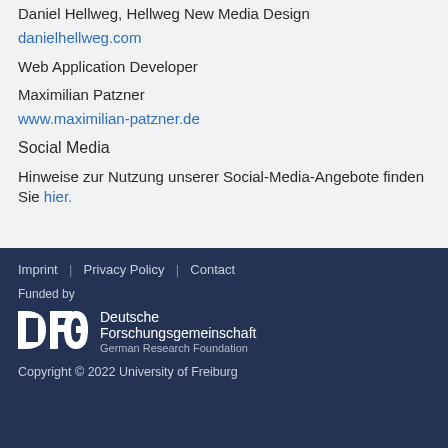Daniel Hellweg, Hellweg New Media Design
danielhellweg.com
Web Application Developer
Maximilian Patzner
www.maximilian-patzner.de
Social Media
Hinweise zur Nutzung unserer Social-Media-Angebote finden Sie hier.
Imprint | Privacy Policy | Contact
Funded by
DFG Deutsche Forschungsgemeinschaft German Research Foundation
Copyright © 2022 University of Freiburg